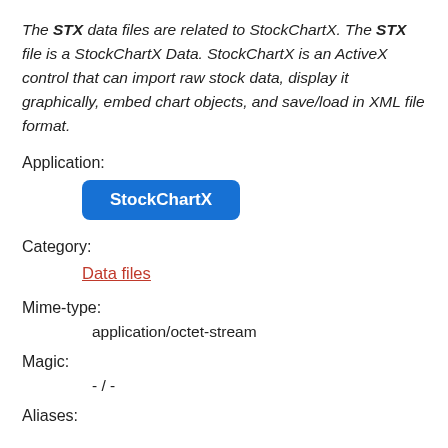The STX data files are related to StockChartX. The STX file is a StockChartX Data. StockChartX is an ActiveX control that can import raw stock data, display it graphically, embed chart objects, and save/load in XML file format.
Application:
StockChartX
Category:
Data files
Mime-type:
application/octet-stream
Magic:
- / -
Aliases: